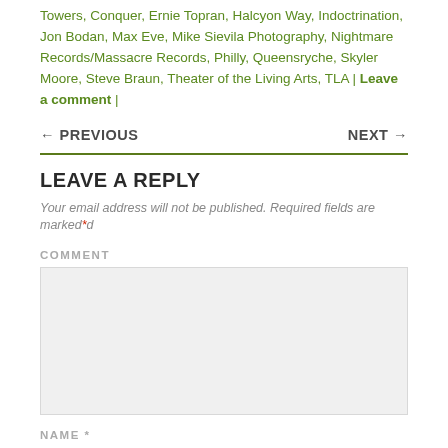Towers, Conquer, Ernie Topran, Halcyon Way, Indoctrination, Jon Bodan, Max Eve, Mike Sievila Photography, Nightmare Records/Massacre Records, Philly, Queensryche, Skyler Moore, Steve Braun, Theater of the Living Arts, TLA | Leave a comment |
← PREVIOUS    NEXT →
LEAVE A REPLY
Your email address will not be published. Required fields are marked *
COMMENT
NAME *